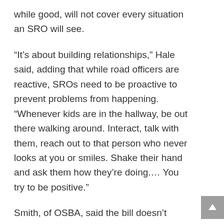while good, will not cover every situation an SRO will see.
“It’s about building relationships,” Hale said, adding that while road officers are reactive, SROs need to be proactive to prevent problems from happening. “Whenever kids are in the hallway, be out there walking around. Interact, talk with them, reach out to that person who never looks at you or smiles. Shake their hand and ask them how they’re doing. … You try to be positive.”
Smith, of OSBA, said the bill doesn’t require schools to have an SRO (about 70 percent of districts currently do), and existing SROs will be grandfathered in without the training. Henderson and Hill said SROs in Centerville and Springfield already take training courses, but it’s not consistent statewide.